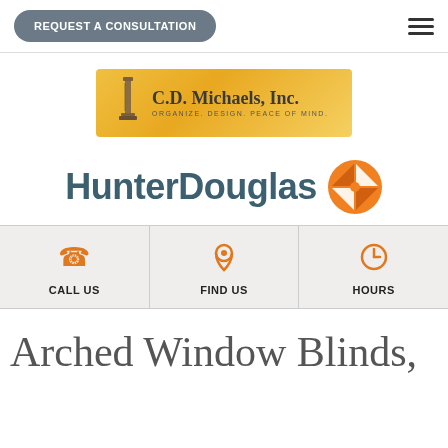REQUEST A CONSULTATION
[Figure (logo): C.D. Michaels, Inc. logo with tagline ORGANIZE. DESIGN. PEACE OF MIND.]
[Figure (logo): HunterDouglas logo with orange compass icon]
CALL US | FIND US | HOURS
Arched Window Blinds,